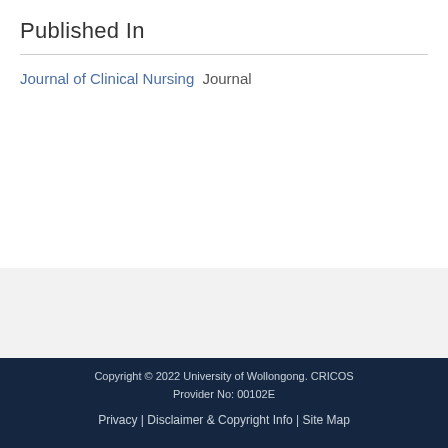Published In
Journal of Clinical Nursing  Journal
Copyright © 2022 University of Wollongong. CRICOS Provider No: 00102E
Privacy | Disclaimer & Copyright Info | Site Map